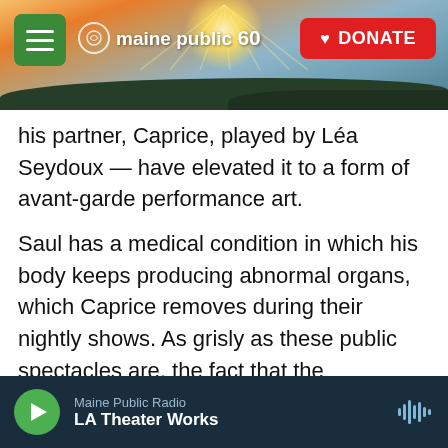[Figure (screenshot): Maine Public website header banner with landscape photo showing sunrise over hills/water, hamburger menu button in green, Maine Public 60 logo in white, and red DONATE button]
his partner, Caprice, played by Léa Seydoux — have elevated it to a form of avant-garde performance art.
Saul has a medical condition in which his body keeps producing abnormal organs, which Caprice removes during their nightly shows. As grisly as these public spectacles are, the fact that the characters don't feel pain has a similarly anesthetizing effect on us as viewers. And there's a kinky pleasure to these scenes, too: Saul, lying in a high-tech, coffin-like bed called a Sark module, clearly enjoys being sliced open by Caprice's
Maine Public Radio — LA Theater Works